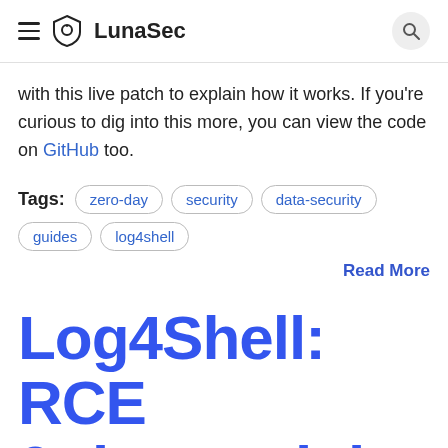LunaSec
with this live patch to explain how it works. If you're curious to dig into this more, you can view the code on GitHub too.
Tags: zero-day  security  data-security  guides  log4shell
Read More
Log4Shell: RCE 0-day exploit